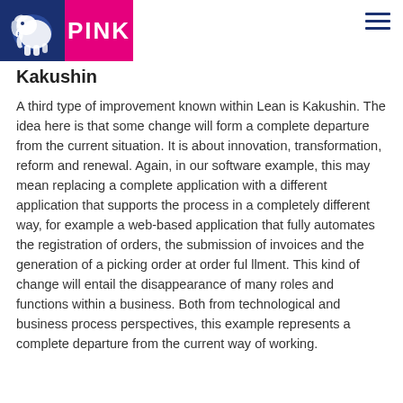[Figure (logo): PINK Elephant logo: blue elephant icon on left, pink rectangle with white PINK text on right]
Kakushin
A third type of improvement known within Lean is Kakushin. The idea here is that some change will form a complete departure from the current situation. It is about innovation, transformation, reform and renewal. Again, in our software example, this may mean replacing a complete application with a different application that supports the process in a completely different way, for example a web-based application that fully automates the registration of orders, the submission of invoices and the generation of a picking order at order ful llment. This kind of change will entail the disappearance of many roles and functions within a business. Both from technological and business process perspectives, this example represents a complete departure from the current way of working.